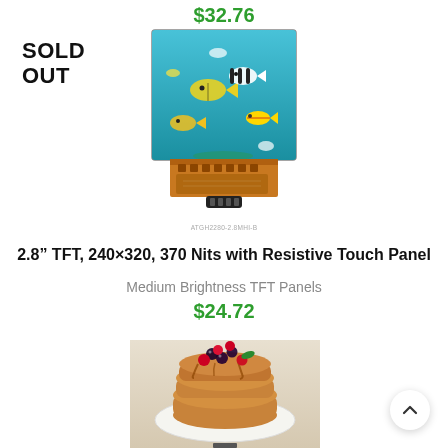$32.76
SOLD OUT
[Figure (photo): TFT LCD display module showing colorful fish underwater scene, with gold/orange flex cable connector at bottom]
ATGH2280-2.8MHI-B
2.8" TFT, 240×320, 370 Nits with Resistive Touch Panel
Medium Brightness TFT Panels
$24.72
[Figure (photo): TFT LCD display module showing stack of pancakes topped with berries and chocolate on a white plate]